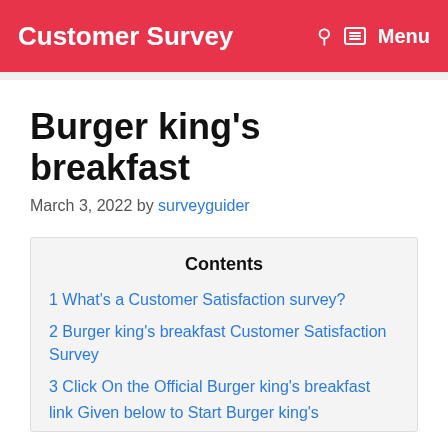Customer Survey   Menu
Burger king's breakfast
March 3, 2022 by surveyguider
Contents
1 What's a Customer Satisfaction survey?
2 Burger king's breakfast Customer Satisfaction Survey
3 Click On the Official Burger king's breakfast link Given below to Start Burger king's